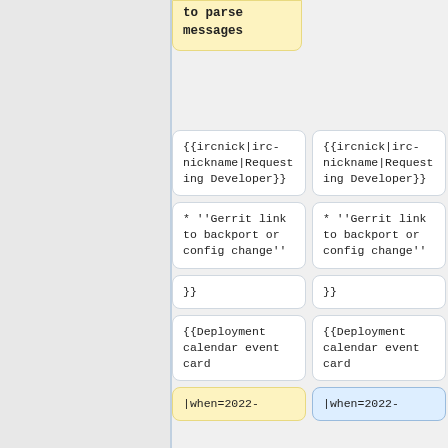to parse messages
{{ircnick|irc-nickname|Requesting Developer}} | {{ircnick|irc-nickname|Requesting Developer}}
* ''Gerrit link to backport or config change'' | * ''Gerrit link to backport or config change''
}} | }}
{{Deployment calendar event card | {{Deployment calendar event card
|when=2022- | |when=2022-